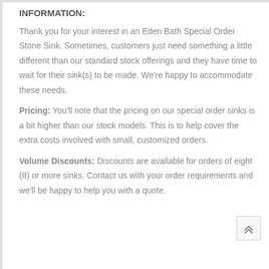INFORMATION:
Thank you for your interest in an Eden Bath Special Order Stone Sink. Sometimes, customers just need something a little different than our standard stock offerings and they have time to wait for their sink(s) to be made. We're happy to accommodate these needs.
Pricing: You'll note that the pricing on our special order sinks is a bit higher than our stock models. This is to help cover the extra costs involved with small, customized orders.
Volume Discounts: Discounts are available for orders of eight (8) or more sinks. Contact us with your order requirements and we'll be happy to help you with a quote.